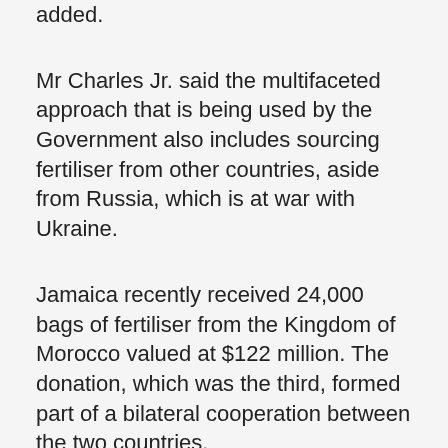added.
Mr Charles Jr. said the multifaceted approach that is being used by the Government also includes sourcing fertiliser from other countries, aside from Russia, which is at war with Ukraine.
Jamaica recently received 24,000 bags of fertiliser from the Kingdom of Morocco valued at $122 million. The donation, which was the third, formed part of a bilateral cooperation between the two countries.
-JIS NEWS-
We want to hear from you! Email us at